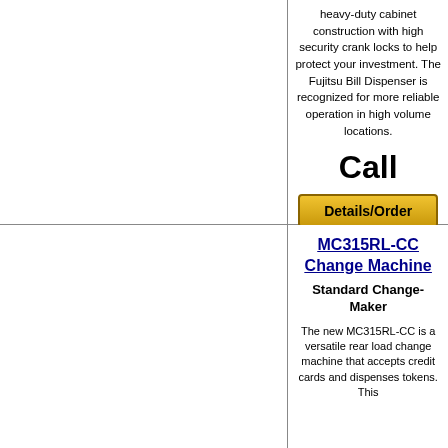heavy-duty cabinet construction with high security crank locks to help protect your investment. The Fujitsu Bill Dispenser is recognized for more reliable operation in high volume locations.
Call
[Figure (other): Yellow 'Details/Order' button]
MC315RL-CC Change Machine
Standard Change-Maker
The new MC315RL-CC is a versatile rear load change machine that accepts credit cards and dispenses tokens. This